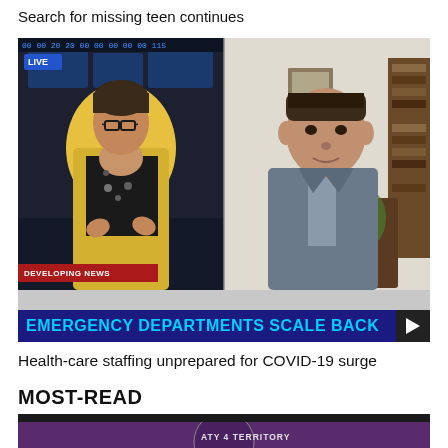Search for missing teen continues
[Figure (screenshot): TV news broadcast screenshot split screen: left side shows female news anchor in yellow blazer with LIVE tag and DEVELOPING NEWS lower-third; right side shows male guest in grey suit jacket via video call. Bottom ticker reads EMERGENCY DEPARTMENTS SCALE BACK]
Health-care staffing unprepared for COVID-19 surge
MOST-READ
[Figure (screenshot): Bottom partial image showing purple/dark background with text ATY 4 TERRITORY]